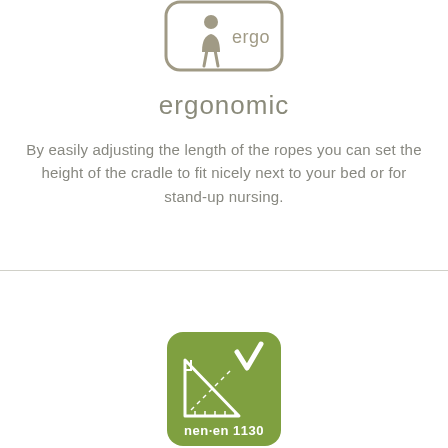[Figure (logo): Ergo logo: rounded rectangle in tan/khaki color with a person icon and the word 'ergo']
ergonomic
By easily adjusting the length of the ropes you can set the height of the cradle to fit nicely next to your bed or for stand-up nursing.
[Figure (logo): NEN-EN 1130 certification logo: green rounded rectangle with a set square/triangle ruler icon and a checkmark, text 'nen·en 1130']